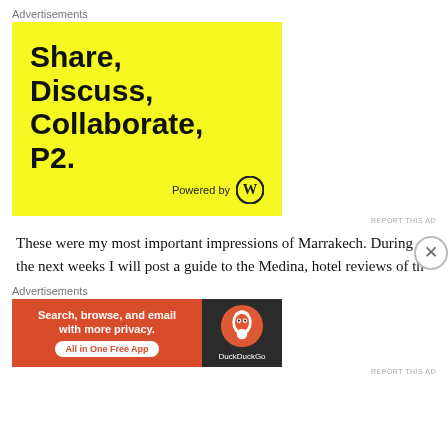Advertisements
[Figure (illustration): Yellow background advertisement for P2 by WordPress. Bold black text reads 'Share, Discuss, Collaborate, P2.' with 'Powered by' and WordPress logo at bottom right.]
REPORT THIS AD
These were my most important impressions of Marrakech. During the next weeks I will post a guide to the Medina, hotel reviews of the
Advertisements
[Figure (illustration): DuckDuckGo advertisement: red left panel saying 'Search, browse, and email with more privacy. All in One Free App', dark right panel with DuckDuckGo logo and name.]
REPORT THIS AD